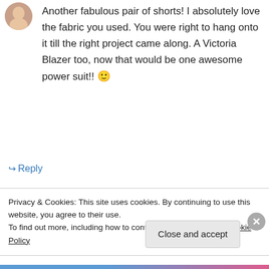[Figure (photo): Circular avatar photo of a person, partially visible at top left]
Another fabulous pair of shorts! I absolutely love the fabric you used. You were right to hang onto it till the right project came along. A Victoria Blazer too, now that would be one awesome power suit!! 🙂
↳ Reply
[Figure (photo): Circular avatar icon for user sallie — red circle with white dots pattern]
sallie on June 29, 2013 at 9:43 am
CAAAHHHH!!! Everywhere I look that kitteh is
Privacy & Cookies: This site uses cookies. By continuing to use this website, you agree to their use.
To find out more, including how to control cookies, see here: Cookie Policy
Close and accept